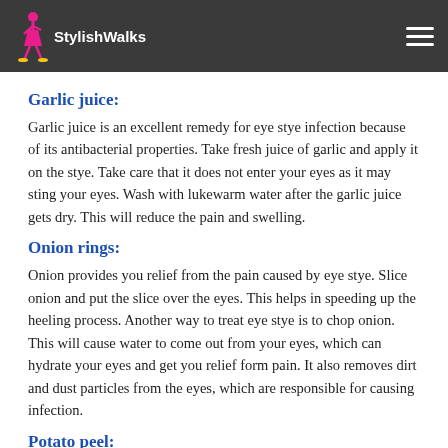StylishWalks
Garlic juice:
Garlic juice is an excellent remedy for eye stye infection because of its antibacterial properties. Take fresh juice of garlic and apply it on the stye. Take care that it does not enter your eyes as it may sting your eyes. Wash with lukewarm water after the garlic juice gets dry. This will reduce the pain and swelling.
Onion rings:
Onion provides you relief from the pain caused by eye stye. Slice onion and put the slice over the eyes. This helps in speeding up the heeling process. Another way to treat eye stye is to chop onion. This will cause water to come out from your eyes, which can hydrate your eyes and get you relief form pain. It also removes dirt and dust particles from the eyes, which are responsible for causing infection.
Potato peel: